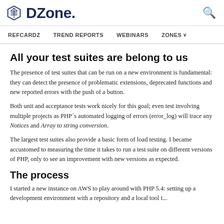DZone.
REFCARDZ  TREND REPORTS  WEBINARS  ZONES
All your test suites are belong to us
The presence of test suites that can be run on a new environment is fundamental: they can detect the presence of problematic extensions, deprecated functions and new reported errors with the push of a button.
Both unit and acceptance tests work nicely for this goal; even test involving multiple projects as PHP´s automated logging of errors (error_log) will trace any Notices and Array to string conversion.
The largest test suites also provide a basic form of load testing. I became accustomed to measuring the time it takes to run a test suite on different versions of PHP, only to see an improvement with new versions as expected.
The process
I started a new instance on AWS to play around with PHP 5.4: setting up a development environment with a repository...